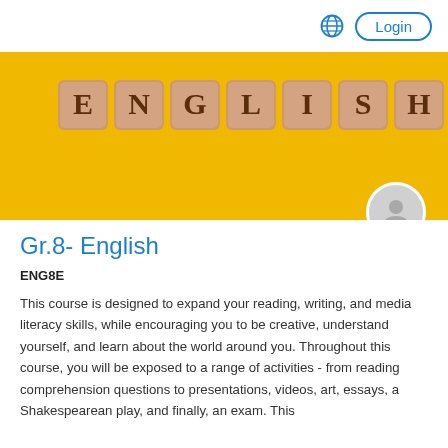[Figure (screenshot): Top navigation bar with globe icon and Login button on white background]
[Figure (photo): Wooden letter tiles spelling ENGLISH on a yellow/golden background, with a user avatar circle in the bottom-right corner]
Gr.8- English
ENG8E
This course is designed to expand your reading, writing, and media literacy skills, while encouraging you to be creative, understand yourself, and learn about the world around you. Throughout this course, you will be exposed to a range of activities - from reading comprehension questions to presentations, videos, art, essays, a Shakespearean play, and finally, an exam. This